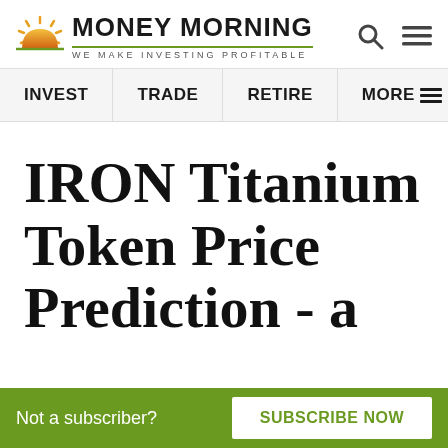[Figure (logo): Money Morning logo with sun icon and tagline 'WE MAKE INVESTING PROFITABLE']
INVEST | TRADE | RETIRE | MORE
IRON Titanium Token Price Prediction - a
Not a subscriber? SUBSCRIBE NOW